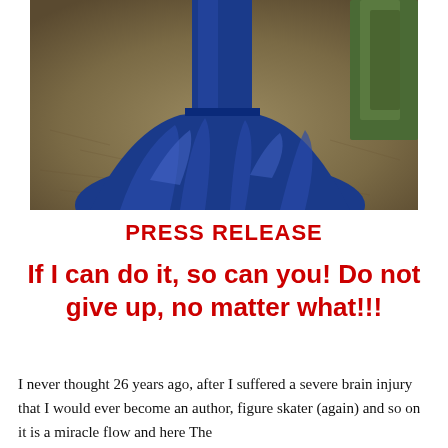[Figure (photo): Photo of the lower portion of a blue satin ball gown dress spread out on autumn leaves/mulch, with green stone or wood visible in the top right corner.]
PRESS RELEASE
If I can do it, so can you! Do not give up, no matter what!!!
I never thought 26 years ago, after I suffered a severe brain injury that I would ever become an author, figure skater (again) and so on it is a miracle flow and here The